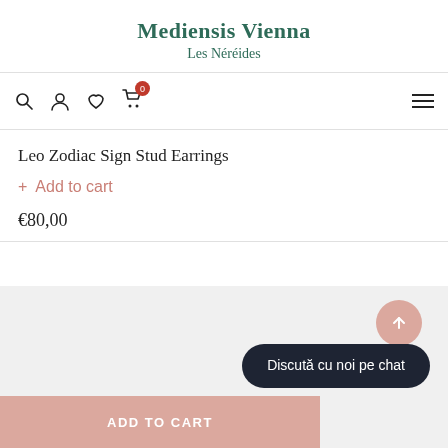Mediensis Vienna
Les Néréides
[Figure (screenshot): Navigation bar with search, user, wishlist, cart (0) icons and hamburger menu]
Leo Zodiac Sign Stud Earrings
+ Add to cart
€80,00
[Figure (screenshot): Lower section with scroll-to-top button, chat bubble saying 'Discută cu noi pe chat', and ADD TO CART bar]